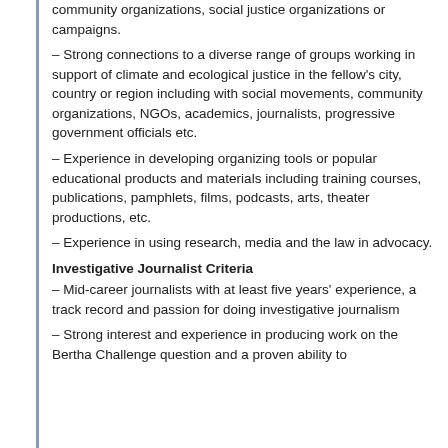community organizations, social justice organizations or campaigns.
– Strong connections to a diverse range of groups working in support of climate and ecological justice in the fellow's city, country or region including with social movements, community organizations, NGOs, academics, journalists, progressive government officials etc.
– Experience in developing organizing tools or popular educational products and materials including training courses, publications, pamphlets, films, podcasts, arts, theater productions, etc.
– Experience in using research, media and the law in advocacy.
Investigative Journalist Criteria
– Mid-career journalists with at least five years' experience, a track record and passion for doing investigative journalism
– Strong interest and experience in producing work on the Bertha Challenge question and a proven ability to